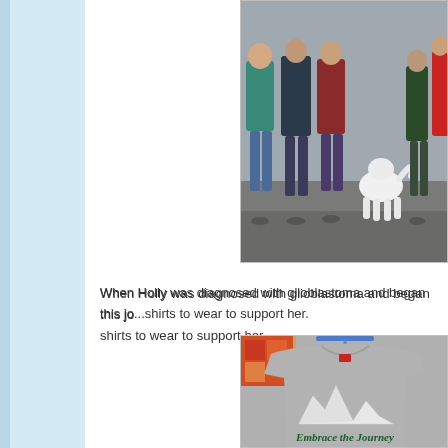[Figure (photo): Group of people standing outdoors, with a white fluffy dog (Samoyed) visible. People are wearing various casual clothing. Scene appears to be at an outdoor event or walk.]
When Holly was diagnosed with glioblastoma and began this journey, friends and family made shirts to wear to support her.
[Figure (photo): A gray heather t-shirt hanging on a blue hanger. The shirt has a white mountain range graphic on the front with the text 'Embrace the Journey' written in a dark green cursive font beneath it. A red fruit of the loom tag is visible at the neckline.]